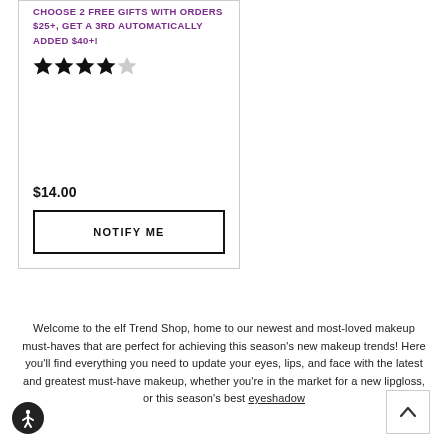CHOOSE 2 FREE GIFTS WITH ORDERS $25+, GET A 3RD AUTOMATICALLY ADDED $40+!
[Figure (other): 4.5 out of 5 stars rating (4 filled stars and 1 half/empty star)]
$14.00
NOTIFY ME
Welcome to the elf Trend Shop, home to our newest and most-loved makeup must-haves that are perfect for achieving this season's new makeup trends! Here you'll find everything you need to update your eyes, lips, and face with the latest and greatest must-have makeup, whether you're in the market for a new lipgloss, or this season's best eyeshadow